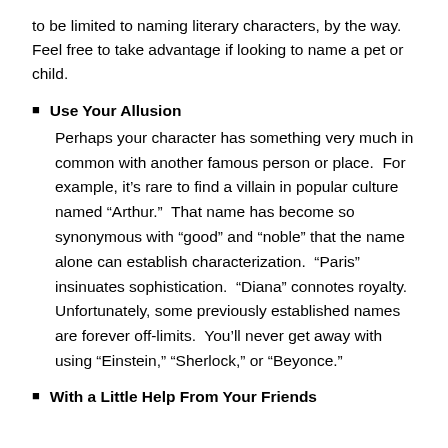to be limited to naming literary characters, by the way. Feel free to take advantage if looking to name a pet or child.
Use Your Allusion
Perhaps your character has something very much in common with another famous person or place.  For example, it’s rare to find a villain in popular culture named “Arthur.”  That name has become so synonymous with “good” and “noble” that the name alone can establish characterization.  “Paris” insinuates sophistication.  “Diana” connotes royalty.  Unfortunately, some previously established names are forever off-limits.  You’ll never get away with using “Einstein,” “Sherlock,” or “Beyonce.”
With a Little Help From Your Friends